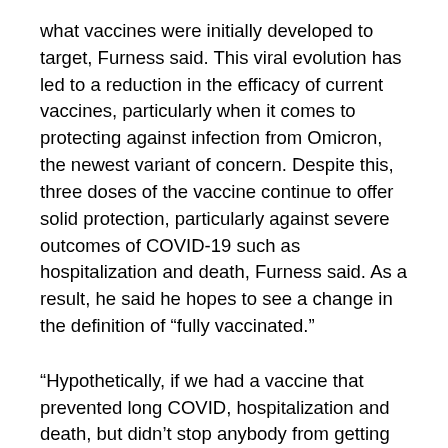what vaccines were initially developed to target, Furness said. This viral evolution has led to a reduction in the efficacy of current vaccines, particularly when it comes to protecting against infection from Omicron, the newest variant of concern. Despite this, three doses of the vaccine continue to offer solid protection, particularly against severe outcomes of COVID-19 such as hospitalization and death, Furness said. As a result, he said he hopes to see a change in the definition of “fully vaccinated.”
“Hypothetically, if we had a vaccine that prevented long COVID, hospitalization and death, but didn’t stop anybody from getting infected, I would call that wildly successful; we’d all get a cold … but no one would get really sick,” Furness said. “There’s no question we don’t have that, but three doses of a COVID-19 vaccine takes us closer to that.